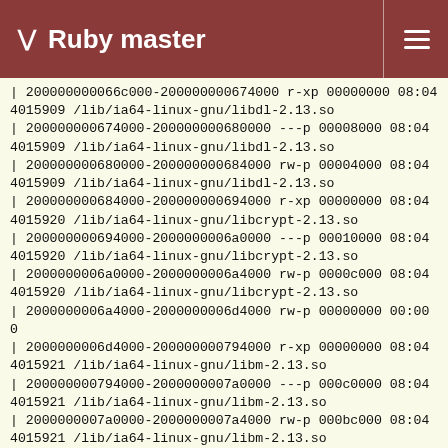Ruby master
| 200000000066c000-200000000674000 r-xp 00000000 08:04 4015909 /lib/ia64-linux-gnu/libdl-2.13.so
| 200000000674000-200000000680000 ---p 00008000 08:04 4015909 /lib/ia64-linux-gnu/libdl-2.13.so
| 200000000680000-200000000684000 rw-p 00004000 08:04 4015909 /lib/ia64-linux-gnu/libdl-2.13.so
| 200000000684000-200000000694000 r-xp 00000000 08:04 4015920 /lib/ia64-linux-gnu/libcrypt-2.13.so
| 200000000694000-2000000006a0000 ---p 00010000 08:04 4015920 /lib/ia64-linux-gnu/libcrypt-2.13.so
| 2000000006a0000-2000000006a4000 rw-p 0000c000 08:04 4015920 /lib/ia64-linux-gnu/libcrypt-2.13.so
| 2000000006a4000-2000000006d4000 rw-p 00000000 00:00 0
| 2000000006d4000-200000000794000 r-xp 00000000 08:04 4015921 /lib/ia64-linux-gnu/libm-2.13.so
| 200000000794000-2000000007a0000 ---p 000c0000 08:04 4015921 /lib/ia64-linux-gnu/libm-2.13.so
| 2000000007a0000-2000000007a4000 rw-p 000bc000 08:04 4015921 /lib/ia64-linux-gnu/libm-2.13.so
| 2000000007a4000-2000000007a8000 rw-p 00000000 00:00 0
| 2000000007a8000-20000000a18000 r-xp 00000000 08:04 4015908 /lib/ia64-linux-gnu/libc-2.13.so